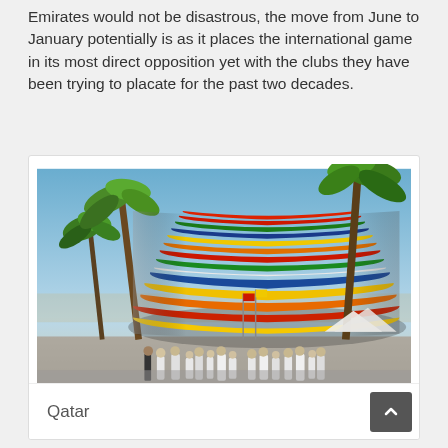Emirates would not be disastrous, the move from June to January potentially is as it places the international game in its most direct opposition yet with the clubs they have been trying to placate for the past two decades.
[Figure (photo): A colorful multi-tiered stadium with horizontal rainbow-colored stripes (red, green, blue, orange, yellow) surrounded by palm trees and a crowd of people in traditional Middle Eastern white robes (thobes) in an outdoor plaza. Blue sky in the background.]
Qatar